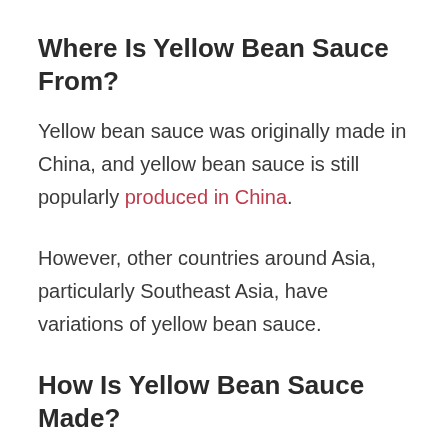Where Is Yellow Bean Sauce From?
Yellow bean sauce was originally made in China, and yellow bean sauce is still popularly produced in China.
However, other countries around Asia, particularly Southeast Asia, have variations of yellow bean sauce.
How Is Yellow Bean Sauce Made?
How yellow bean sauce is made will slightly